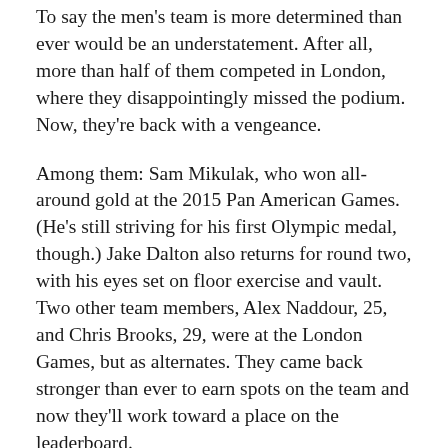To say the men's team is more determined than ever would be an understatement. After all, more than half of them competed in London, where they disappointingly missed the podium. Now, they're back with a vengeance.
Among them: Sam Mikulak, who won all-around gold at the 2015 Pan American Games. (He's still striving for his first Olympic medal, though.) Jake Dalton also returns for round two, with his eyes set on floor exercise and vault. Two other team members, Alex Naddour, 25, and Chris Brooks, 29, were at the London Games, but as alternates. They came back stronger than ever to earn spots on the team and now they'll work toward a place on the leaderboard.
The fifth Team USA member, Danell Leyva, had a rocky start on the road to Rio. The original pick was John Orozco — a gymnast who overcome adversary in 2015 with the sudden death of his mom and a second Achilles injury. During pre-Olympic team camp, Orozco tore his ACL on a dismount